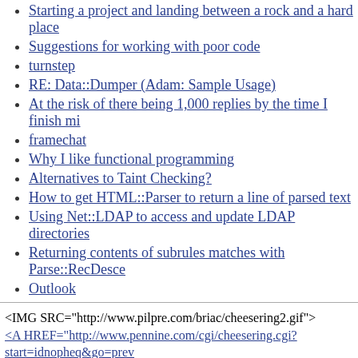Starting a project and landing between a rock and a hard place
Suggestions for working with poor code
turnstep
RE: Data::Dumper (Adam: Sample Usage)
At the risk of there being 1,000 replies by the time I finish mi
framechat
Why I like functional programming
Alternatives to Taint Checking?
How to get HTML::Parser to return a line of parsed text
Using Net::LDAP to access and update LDAP directories
Returning contents of subrules matches with Parse::RecDesce
Outlook
<IMG SRC="http://www.pilpre.com/briac/cheesering2.gif">
<A HREF="http://www.pennine.com/cgi/cheesering.cgi?start=idnopheq&go=prev cheese </A> - <A HREF="http://www.pennine.com/cgi/cheesering.cgi?start=idno cheese </A> - <A HREF="http://www.pennine.com/cgi/cheesering.cgi?start=idno random cheese </A> - <A HREF="http://www.pennine.com/cgi/cheesering.cgi?start=idnopheq&go=list"> list cheese </A> - <A HREF="http://www.pennine.com/cgi/ start=idnopheq&go=next5"> next5 cheeses </A> - <A HREF="http://www.pennine.com/cgi/cheesering.cgi?start=idnopheq&go=prev5"> <A HREF="http://www.pennine.com/cgi/cheesering.cgi?start=idnopheq&go=first <A HREF="http://www.pennine.com/cgi/cheesering.cgi?start=idnopheq&go=last" don't blame me for this idea, it's ar0n's fault!
[Figure (other): A grey/silver button or widget box at the bottom of the page]